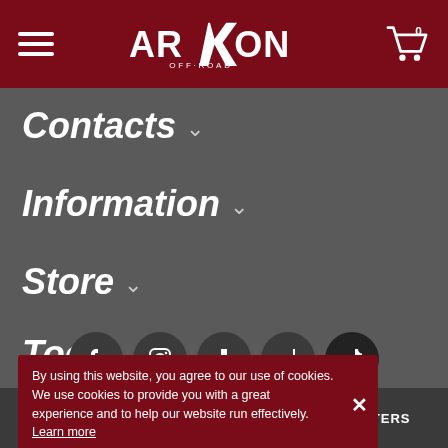Arkon Off-Road — navigation header with hamburger menu, logo, and cart icon
Contacts ▾
Information ▾
Store ▾
Tools ▾
By using this website, you agree to our use of cookies. We use cookies to provide you with a great experience and to help our website run effectively. Learn more
[Figure (infographic): Social media icons row: Facebook, Instagram, Download/arrow, Tumblr/share, TikTok]
SORT | FITMENT INFO | FILTERS